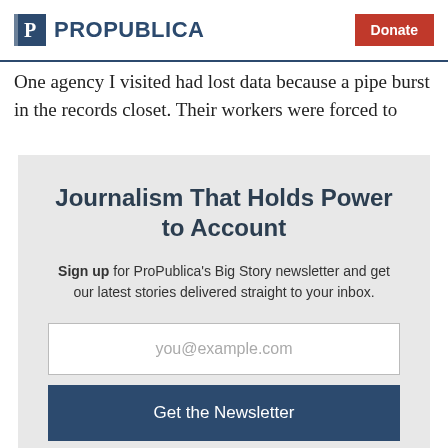ProPublica | Donate
One agency I visited had lost data because a pipe burst in the records closet. Their workers were forced to
Journalism That Holds Power to Account
Sign up for ProPublica's Big Story newsletter and get our latest stories delivered straight to your inbox.
you@example.com
Get the Newsletter
No thanks, I'm all set
This site is protected by reCAPTCHA and the Google Privacy Policy and Terms of Service apply.